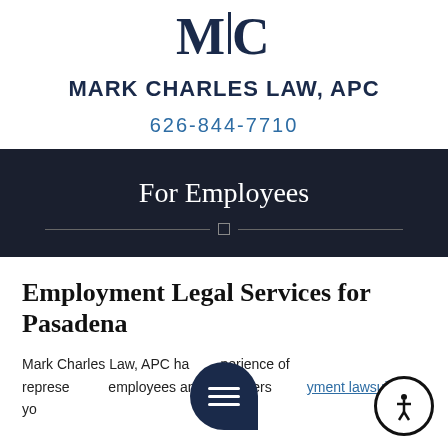[Figure (logo): MC logo — stylized M and C letters in dark navy, side by side with a vertical bar divider]
MARK CHARLES LAW, APC
626-844-7710
For Employees
Employment Legal Services for Pasadena
Mark Charles Law, APC ha[s the exp]erience of represe[nting both] employees and employers [in employ]ment lawsuits. If you